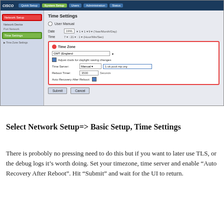[Figure (screenshot): Cisco router web UI screenshot showing Time Settings page. Navigation bar at top with 'Network Setup' and 'System Setup' tabs highlighted. Left sidebar shows 'Network Setup' and 'Time Settings' items highlighted with red borders. Main panel shows Time Settings form with User Manual radio, Date and Time fields, and a red-bordered Time Zone section containing: GMT/England dropdown, Adjust clock for daylight saving changes checkbox, Time Server (Manual + 1.uk.pool.ntp.org), Reboot Timer field, Auto Recovery After Reboot checkbox. Submit and Cancel buttons at bottom.]
Select Network Setup=> Basic Setup, Time Settings
There is probobly no pressing need to do this but if you want to later use TLS, or the debug logs it's worth doing. Set your timezone, time server and enable “Auto Recovery After Reboot”. Hit “Submit” and wait for the UI to return.